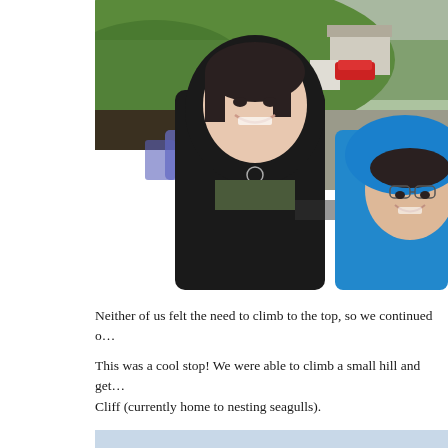[Figure (photo): Two women smiling outdoors in rainy weather, wearing rain jackets (one black North Face, one bright blue), with green hillside, a building, and a red car visible in the background.]
Neither of us felt the need to climb to the top, so we continued o…
This was a cool stop! We were able to climb a small hill and get… Cliff (currently home to nesting seagulls).